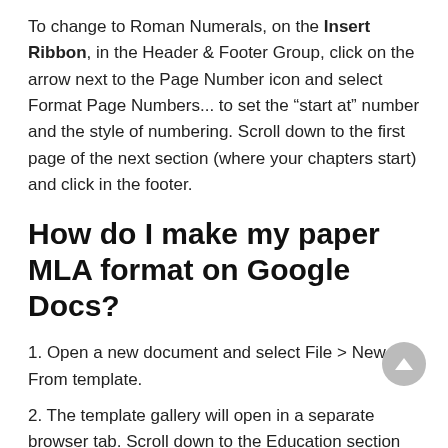To change to Roman Numerals, on the Insert Ribbon, in the Header & Footer Group, click on the arrow next to the Page Number icon and select Format Page Numbers... to set the “start at” number and the style of numbering. Scroll down to the first page of the next section (where your chapters start) and click in the footer.
How do I make my paper MLA format on Google Docs?
1. Open a new document and select File > New > From template.
2. The template gallery will open in a separate browser tab. Scroll down to the Education section and select Report MLA Add-on. ...
3. A new document will open with dummy text that you